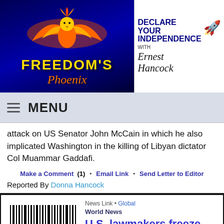[Figure (logo): Freedom's Phoenix logo with phoenix bird on blue background]
[Figure (logo): Declare Your Independence with Ernest Hancock logo]
MENU
attack on US Senator John McCain in which he also implicated Washington in the killing of Libyan dictator Col Muammar Gaddafi.
Make a Comment (1)  •  Email Link  •  Send Letter to Editor
Reported By Donna Hancock
[Figure (photo): Hands behind bars with barcode, black and white image]
News Link • Global
World News
U.S. lawmakers freeze $700 million to Pakistan, ties strained
12-14-2011 • reuters